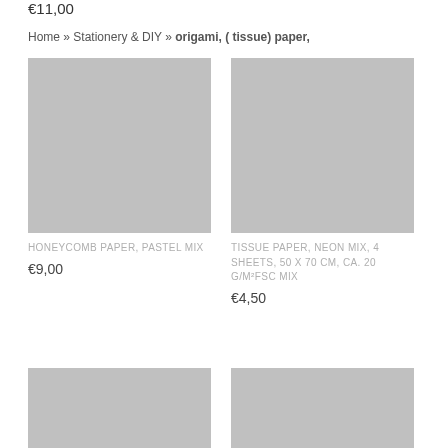€11,00
Home » Stationery & DIY » origami, ( tissue) paper,
[Figure (photo): Gray placeholder image for Honeycomb Paper, Pastel Mix product]
HONEYCOMB PAPER, PASTEL MIX
€9,00
[Figure (photo): Gray placeholder image for Tissue Paper, Neon Mix product]
TISSUE PAPER, NEON MIX, 4 SHEETS, 50 X 70 CM, CA. 20 G/M²FSC MIX
€4,50
[Figure (photo): Gray placeholder image for a third product (bottom left, partially visible)]
[Figure (photo): Gray placeholder image for a fourth product (bottom right, partially visible)]